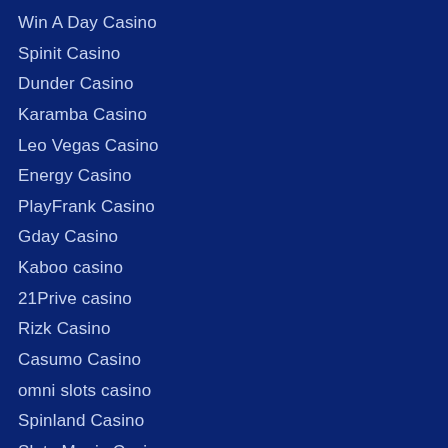Win A Day Casino
Spinit Casino
Dunder Casino
Karamba Casino
Leo Vegas Casino
Energy Casino
PlayFrank Casino
Gday Casino
Kaboo casino
21Prive casino
Rizk Casino
Casumo Casino
omni slots casino
Spinland Casino
Slots Magic Casino
SlotsMillion Casino
DrueckGlueck Casino
Play Ojo Casino